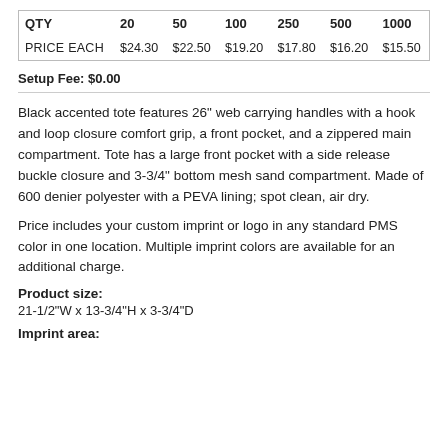| QTY | 20 | 50 | 100 | 250 | 500 | 1000 |
| --- | --- | --- | --- | --- | --- | --- |
| PRICE EACH | $24.30 | $22.50 | $19.20 | $17.80 | $16.20 | $15.50 |
Setup Fee: $0.00
Black accented tote features 26" web carrying handles with a hook and loop closure comfort grip, a front pocket, and a zippered main compartment. Tote has a large front pocket with a side release buckle closure and 3-3/4" bottom mesh sand compartment. Made of 600 denier polyester with a PEVA lining; spot clean, air dry.
Price includes your custom imprint or logo in any standard PMS color in one location. Multiple imprint colors are available for an additional charge.
Product size:
21-1/2"W x 13-3/4"H x 3-3/4"D
Imprint area: